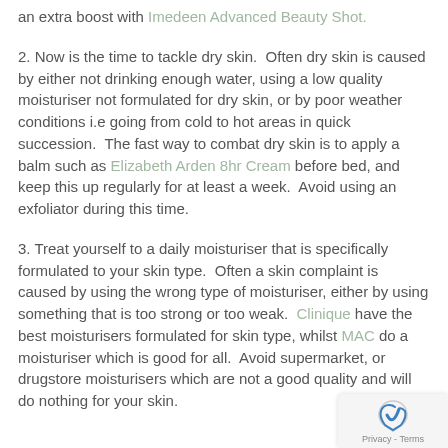an extra boost with Imedeen Advanced Beauty Shot.
2. Now is the time to tackle dry skin.  Often dry skin is caused by either not drinking enough water, using a low quality moisturiser not formulated for dry skin, or by poor weather conditions i.e going from cold to hot areas in quick succession.  The fast way to combat dry skin is to apply a balm such as Elizabeth Arden 8hr Cream before bed, and keep this up regularly for at least a week.  Avoid using an exfoliator during this time.
3. Treat yourself to a daily moisturiser that is specifically formulated to your skin type.  Often a skin complaint is caused by using the wrong type of moisturiser, either by using something that is too strong or too weak.  Clinique have the best moisturisers formulated for skin type, whilst MAC do a moisturiser which is good for all.  Avoid supermarket, or drugstore moisturisers which are not a good quality and will do nothing for your skin.